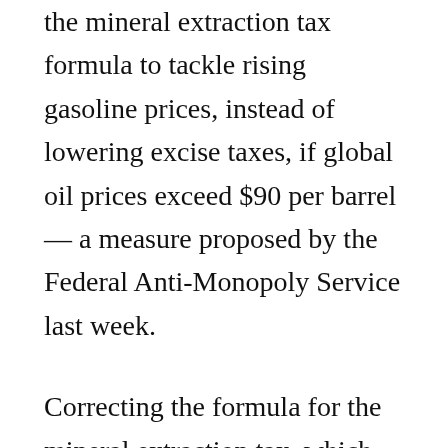the mineral extraction tax formula to tackle rising gasoline prices, instead of lowering excise taxes, if global oil prices exceed $90 per barrel — a measure proposed by the Federal Anti-Monopoly Service last week.
Correcting the formula for the mineral extraction tax, which goes to the federal budget, will not have a negative effect on regional budgets, where excise taxes go.
“We don’t need to centralize tax revenues